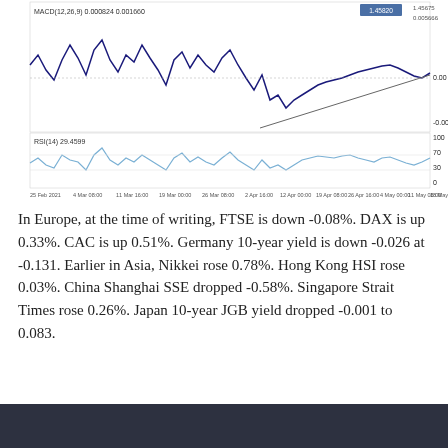[Figure (continuous-plot): Two-panel technical analysis chart. Top panel: MACD(12,26,9) line chart showing oscillating dark blue line with values 0.000824 and 0.001660, with a trendline drawn from lower left to upper right, y-axis labels 0.00 and -0.006937, and a highlighted value box showing 1.45820. Bottom panel: RSI(14) at 29.4599, light blue line oscillating, y-axis labels 100, 70, 30, 0. X-axis dates from 25 Feb 2021 through 18 May 16:00.]
In Europe, at the time of writing, FTSE is down -0.08%. DAX is up 0.33%. CAC is up 0.51%. Germany 10-year yield is down -0.026 at -0.131. Earlier in Asia, Nikkei rose 0.78%. Hong Kong HSI rose 0.03%. China Shanghai SSE dropped -0.58%. Singapore Strait Times rose 0.26%. Japan 10-year JGB yield dropped -0.001 to 0.083.
Canada retail sales rose 3.6% mom in March, up in 10 of